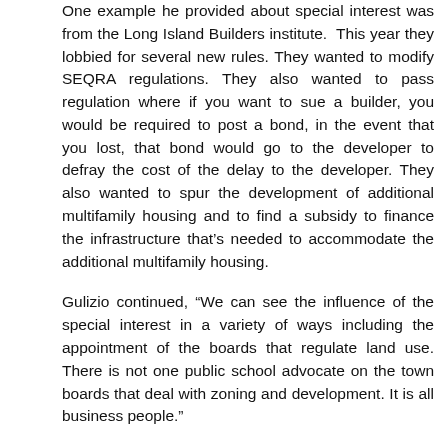One example he provided about special interest was from the Long Island Builders institute. This year they lobbied for several new rules. They wanted to modify SEQRA regulations. They also wanted to pass regulation where if you want to sue a builder, you would be required to post a bond, in the event that you lost, that bond would go to the developer to defray the cost of the delay to the developer. They also wanted to spur the development of additional multifamily housing and to find a subsidy to finance the infrastructure that's needed to accommodate the additional multifamily housing.
Gulizio continued, “We can see the influence of the special interest in a variety of ways including the appointment of the boards that regulate land use. There is not one public school advocate on the town boards that deal with zoning and development. It is all business people.”
Another problem he explained, “You can’t have a rational process without all the pertinent information. The people on these boards don’t have good, impartial information.”